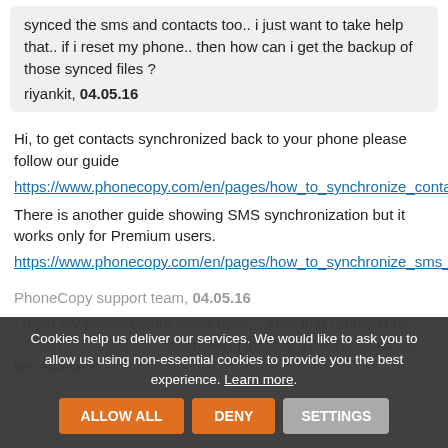synced the sms and contacts too.. i just want to take help that.. if i reset my phone.. then how can i get the backup of those synced files ?
riyankit, 04.05.16
Hi, to get contacts synchronized back to your phone please follow our guide https://www.phonecopy.com/en/pages/how_to_synchronize_contacts_to_android There is another guide showing SMS synchronization but it works only for Premium users. https://www.phonecopy.com/en/pages/how_to_synchronize_sms_to_android
PhoneCopy support team, 04.05.16
I reset my phone before some days... After that i couldn't re... ...ts f... ...ca... ...is showing that the VCARD could not be retrieved
Cookies help us deliver our services. We would like to ask you to allow us using non-essential cookies to provide you the best experience. Learn more.